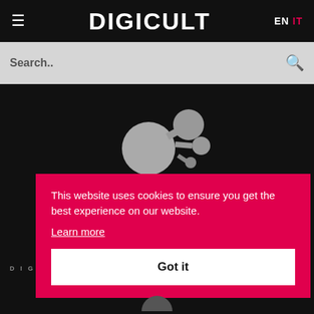DIGICULT EN IT
Search..
[Figure (illustration): Molecule/network icon graphic in gray on black background]
This website uses cookies to ensure you get the best experience on our website.
Learn more
Got it
DIG